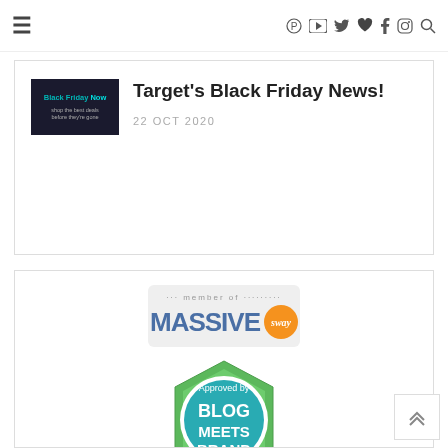≡ [social icons: Pinterest, YouTube, Twitter, Heart, Facebook, Instagram, Search]
[Figure (screenshot): Article card with thumbnail image showing 'Black Friday Now' text on dark background, article title 'Target's Black Friday News!' and date '22 OCT 2020']
Target's Black Friday News!
22 OCT 2020
[Figure (logo): Member of MASSIVE sway badge - rectangular badge with gray background showing '... member of .........' text, 'MASSIVE' in large blue bold letters, and 'sway' in italic white text on an orange circle]
[Figure (logo): Approved by Blog Meets Brand badge - green hexagonal shape with teal/blue circle inside containing 'BLOG MEETS BRAND' text in white, with 'Approved by' text in white at top]